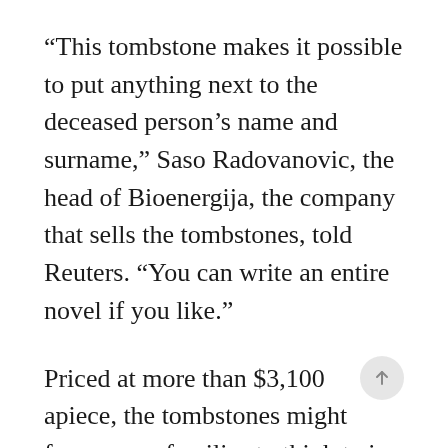“This tombstone makes it possible to put anything next to the deceased person’s name and surname,” Saso Radovanovic, the head of Bioenergija, the company that sells the tombstones, told Reuters. “You can write an entire novel if you like.”
Priced at more than $3,100 apiece, the tombstones might force some families to think twice before marking a loved one’s final resting